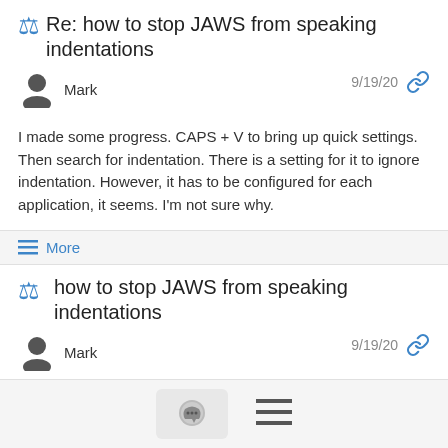Re: how to stop JAWS from speaking indentations
Mark  9/19/20
I made some progress. CAPS + V to bring up quick settings. Then search for indentation. There is a setting for it to ignore indentation. However, it has to be configured for each application, it seems. I'm not sure why.
≡ More
how to stop JAWS from speaking indentations
Mark  9/19/20
I've been tweaking my Speech and Sound Schemes and I'm not